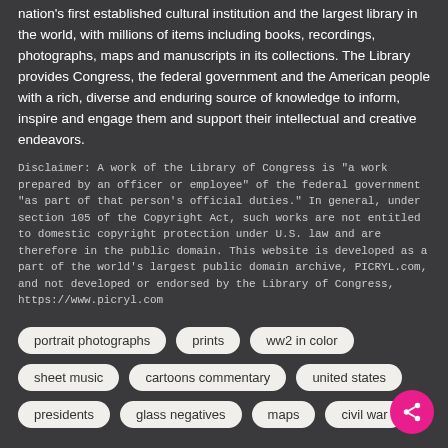nation's first established cultural institution and the largest library in the world, with millions of items including books, recordings, photographs, maps and manuscripts in its collections. The Library provides Congress, the federal government and the American people with a rich, diverse and enduring source of knowledge to inform, inspire and engage them and support their intellectual and creative endeavors.
Disclaimer: A work of the Library of Congress is "a work prepared by an officer or employee" of the federal government "as part of that person's official duties." In general, under section 105 of the Copyright Act, such works are not entitled to domestic copyright protection under U.S. law and are therefore in the public domain. This website is developed as a part of the world's largest public domain archive, PICRYL.com, and not developed or endorsed by the Library of Congress, https://www.picryl.com
portrait photographs
prints
ww2 in color
sheet music
cartoons commentary
united states
presidents
glass negatives
maps
civil war